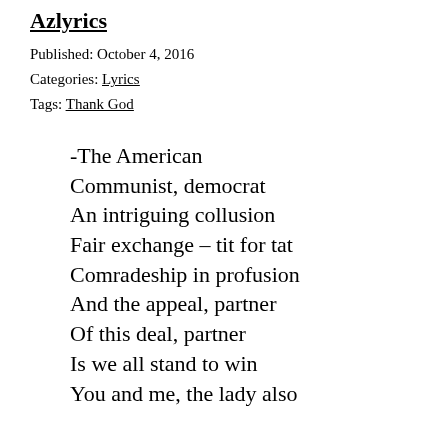Azlyrics
Published: October 4, 2016
Categories: Lyrics
Tags: Thank God
-The American
Communist, democrat
An intriguing collusion
Fair exchange – tit for tat
Comradeship in profusion
And the appeal, partner
Of this deal, partner
Is we all stand to win
You and me, the lady also